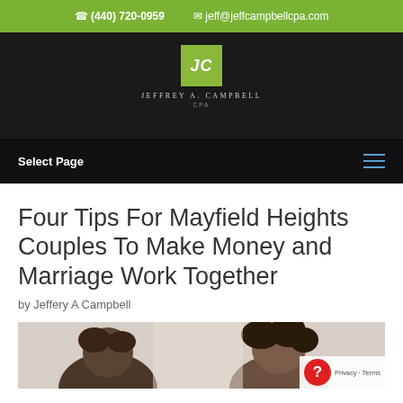(440) 720-0959  jeff@jeffcampbellcpa.com
[Figure (logo): Jeffrey A. Campbell CPA logo — green square with white italic JC letters, company name below in spaced caps]
Select Page
Four Tips For Mayfield Heights Couples To Make Money and Marriage Work Together
by Jeffery A Campbell
[Figure (photo): Partial photo of a couple, bottom portion visible showing heads/upper bodies against a light background]